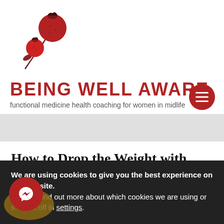[Figure (logo): Two red pomegranates with leaves on a white background, logo for Being Well Aware]
BEING WELL AWARE
functional medicine health coaching for women in midlife
[Figure (other): Hamburger menu button - dark red circle with three horizontal white lines]
[Figure (other): Gray banner/divider band]
How to Drop the Weight with These S...
We are using cookies to give you the best experience on our website.
You can find out more about which cookies we are using or switch them off in settings.
[Figure (other): Facebook Messenger chat button - red circle with white messenger lightning bolt icon, over a gold/brown circular base]